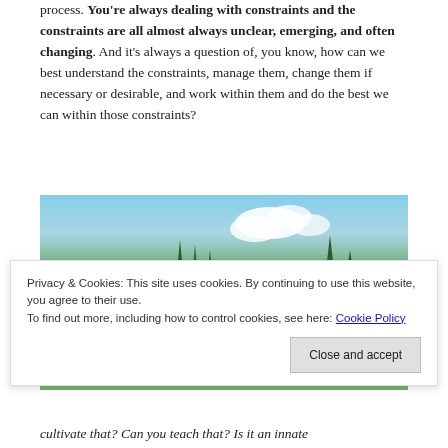process. You're always dealing with constraints and the constraints are all almost always unclear, emerging, and often changing. And it's always a question of, you know, how can we best understand the constraints, manage them, change them if necessary or desirable, and work within them and do the best we can within those constraints?
[Figure (photo): Outdoor photo showing a group of people standing on a grassy slope with tall trees and mountains with blue sky and clouds in the background.]
Privacy & Cookies: This site uses cookies. By continuing to use this website, you agree to their use. To find out more, including how to control cookies, see here: Cookie Policy
cultivate that? Can you teach that? Is it an innate